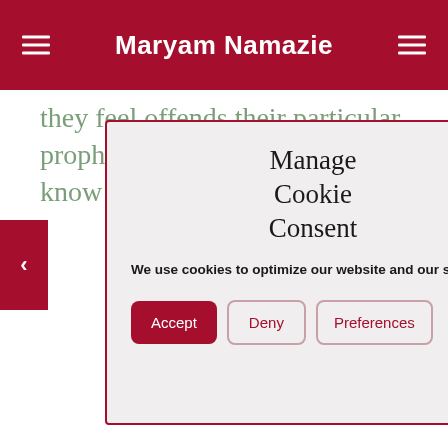Maryam Namazie
[Figure (screenshot): Cookie consent dialog with title 'Manage Cookie Consent', body text 'We use cookies to optimize our website and our service.', and three buttons: Accept, Deny, Preferences]
they feel offends their particular prophet or god. Children need to know that religion